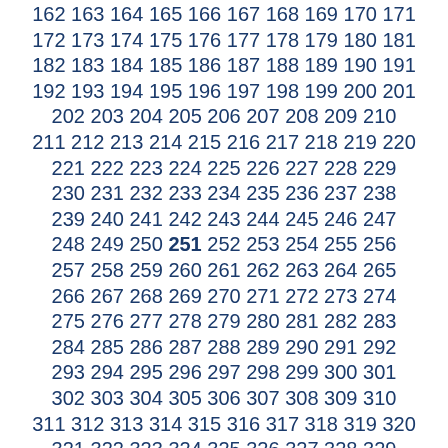162 163 164 165 166 167 168 169 170 171 172 173 174 175 176 177 178 179 180 181 182 183 184 185 186 187 188 189 190 191 192 193 194 195 196 197 198 199 200 201 202 203 204 205 206 207 208 209 210 211 212 213 214 215 216 217 218 219 220 221 222 223 224 225 226 227 228 229 230 231 232 233 234 235 236 237 238 239 240 241 242 243 244 245 246 247 248 249 250 251 252 253 254 255 256 257 258 259 260 261 262 263 264 265 266 267 268 269 270 271 272 273 274 275 276 277 278 279 280 281 282 283 284 285 286 287 288 289 290 291 292 293 294 295 296 297 298 299 300 301 302 303 304 305 306 307 308 309 310 311 312 313 314 315 316 317 318 319 320 321 322 323 324 325 326 327 328 329 330 331 332 333 334 335 336 337 338 339 340 341 342 343 344 345 346 347 348 349 350 351 352 353 354 355 356 357 358 359 360 361 362 363 364 365